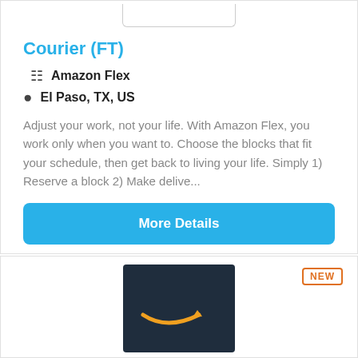Courier (FT)
Amazon Flex
El Paso, TX, US
Adjust your work, not your life. With Amazon Flex, you work only when you want to. Choose the blocks that fit your schedule, then get back to living your life. Simply 1) Reserve a block 2) Make delive...
More Details
[Figure (logo): Amazon logo — orange smile/arrow on dark navy background]
NEW